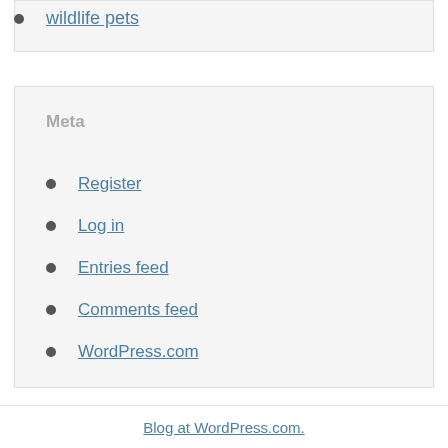wildlife pets
Meta
Register
Log in
Entries feed
Comments feed
WordPress.com
Blog at WordPress.com.